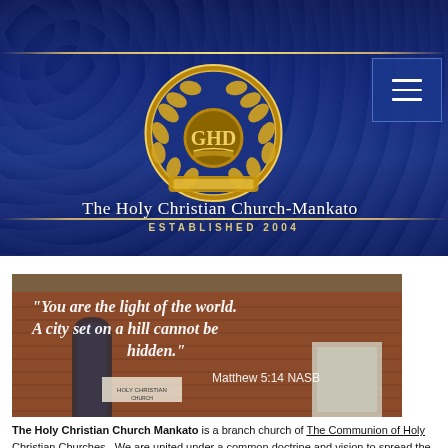[Figure (logo): The Holy Christian Church-Mankato header banner with gold laurel wreath logo on dark blue background. Menu hamburger icon in top right. Gold horizontal border lines.]
The Holy Christian Church-Mankato
ESTABLISHED 2004
[Figure (photo): Photograph of a brick church building with a quote overlaid in white italic text: "You are the light of the world. A city set on a hill cannot be hidden." Matthew 5:14 NASB]
The Holy Christian Church Mankato is a branch church of The Communion of Holy Christian Churches. We are united under a common doctrine and vision to spread the message, ministry, and mission of Jesus Christ throughout the world. As such, we aim to lead people to the Holiness of GOD and the fullness of life in Jesus Christ through the person